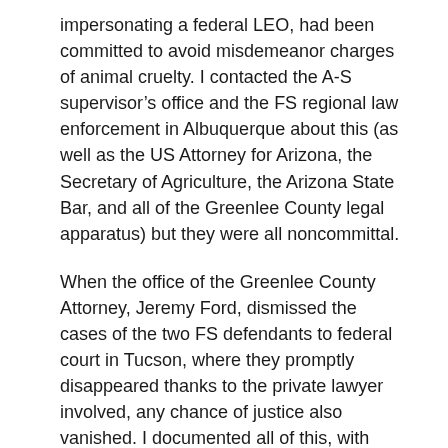impersonating a federal LEO, had been committed to avoid misdemeanor charges of animal cruelty. I contacted the A-S supervisor's office and the FS regional law enforcement in Albuquerque about this (as well as the US Attorney for Arizona, the Secretary of Agriculture, the Arizona State Bar, and all of the Greenlee County legal apparatus) but they were all noncommittal.
When the office of the Greenlee County Attorney, Jeremy Ford, dismissed the cases of the two FS defendants to federal court in Tucson, where they promptly disappeared thanks to the private lawyer involved, any chance of justice also vanished. I documented all of this, with copies of court papers, correspondence with pertinent agencies, and FS reports included, in a book called “Whipping Dead Horses: An Honest Opinion”.
From the exhaustive investigative research I did for the